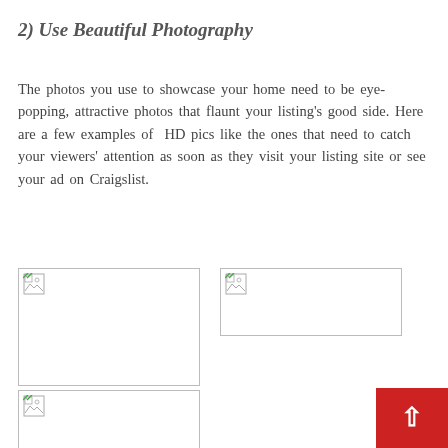2) Use Beautiful Photography
The photos you use to showcase your home need to be eye-popping, attractive photos that flaunt your listing’s good side. Here are a few examples of HD pics like the ones that need to catch your viewers’ attention as soon as they visit your listing site or see your ad on Craigslist.
[Figure (photo): Placeholder image (broken image icon) - top left]
[Figure (photo): Placeholder image (broken image icon) - top right]
[Figure (photo): Placeholder image (broken image icon) - bottom left]